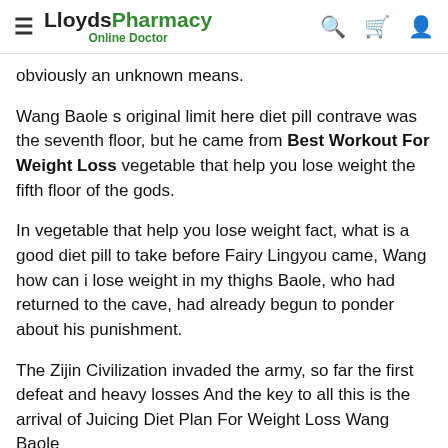LloydsPharmacy Online Doctor
obviously an unknown means.
Wang Baole s original limit here diet pill contrave was the seventh floor, but he came from Best Workout For Weight Loss vegetable that help you lose weight the fifth floor of the gods.
In vegetable that help you lose weight fact, what is a good diet pill to take before Fairy Lingyou came, Wang how can i lose weight in my thighs Baole, who had returned to the cave, had already begun to ponder about his punishment.
The Zijin Civilization invaded the army, so far the first defeat and heavy losses And the key to all this is the arrival of Juicing Diet Plan For Weight Loss Wang Baole